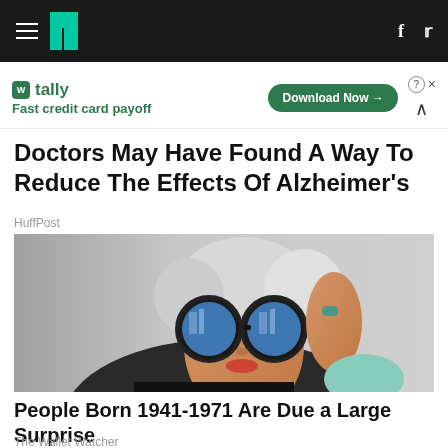HuffPost navigation bar with hamburger menu, logo, facebook and twitter icons
[Figure (screenshot): Advertisement banner for Tally app - Fast credit card payoff with Download Now button]
Doctors May Have Found A Way To Reduce The Effects Of Alzheimer's
HuffPost
[Figure (photo): Elderly woman with white hair wearing large round blue-tinted sunglasses, holding them with a ringed hand, wearing striped clothing, smiling slightly]
People Born 1941-1971 Are Due a Large Surprise
The Wallet Watcher